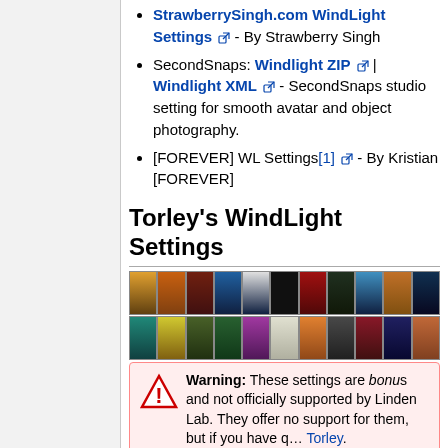StrawberrySingh.com WindLight Settings [ext] - By Strawberry Singh
SecondSnaps: Windlight ZIP [ext] | Windlight XML [ext] - SecondSnaps studio setting for smooth avatar and object photography.
[FOREVER] WL Settings[1][ext] - By Kristian [FOREVER]
Torley's WindLight Settings
[Figure (photo): Strip of thumbnail images showing various WindLight settings/environments]
Warning: These settings are bonus and not officially supported by Linden Lab. They offer no support for them, but if you have questions, contact Torley.
I (Torley) have popularly been asked to